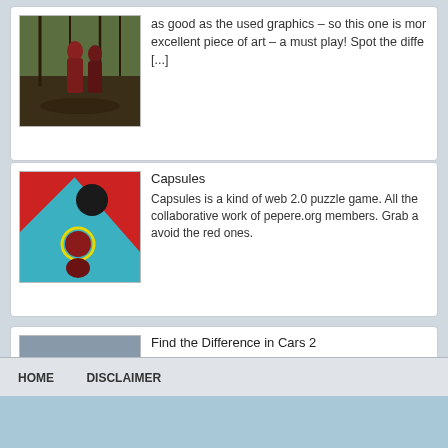[Figure (screenshot): Partial top card showing a fantasy scene illustration with robed figures]
as good as the used graphics – so this one is more excellent piece of art – a must play! Spot the diffe... [...]
[Figure (screenshot): Capsules game thumbnail showing a teal background with red diagonal shape and dark circular figures with yellow outline]
Capsules
Capsules is a kind of web 2.0 puzzle game. All the collaborative work of pepere.org members. Grab a avoid the red ones.
[Figure (screenshot): Find the Difference in Cars 2 thumbnail showing front view of a red car]
Find the Difference in Cars 2
Second part of the car difference series. Enjoy! Sp 'em with left mouse button!
HOME   DISCLAIMER